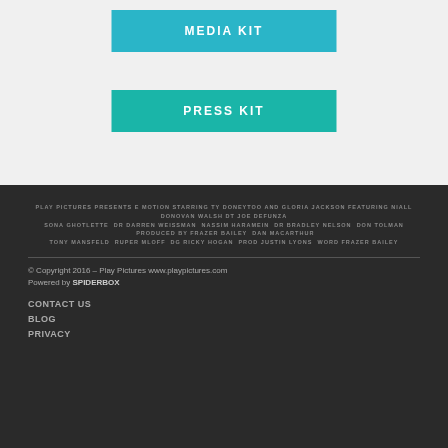MEDIA KIT
PRESS KIT
PLAY PICTURES presents E MOTION starring TY DONEYTOO and GLORIA JACKSON featuring NIALL DONOVAN WALSH DT JOE DEFUNZA SONA GHOTLETTE DR DARREN WEISSMAN NASSIM HARAMEIN DR BRADLEY NELSON DON TOLMAN produced by FRAZER BAILEY DAN MACARTHUR TONY MANSFELD RUPER MLOFF DG RICKY HOGAN prod JUSTIN LYONS word FRAZER BAILEY
© Copyright 2016 – Play Pictures www.playpictures.com
Powered by SPIDERBOX
CONTACT US
BLOG
PRIVACY